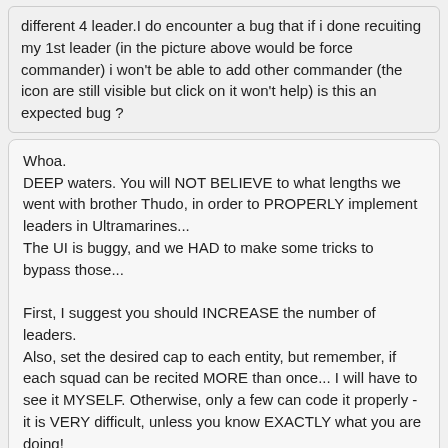different 4 leader.I do encounter a bug that if i done recuiting my 1st leader (in the picture above would be force commander) i won't be able to add other commander (the icon are still visible but click on it won't help) is this an expected bug ?
Whoa.
DEEP waters. You will NOT BELIEVE to what lengths we went with brother Thudo, in order to PROPERLY implement leaders in Ultramarines...
The UI is buggy, and we HAD to make some tricks to bypass those...

First, I suggest you should INCREASE the number of leaders.
Also, set the desired cap to each entity, but remember, if each squad can be recited MORE than once... I will have to see it MYSELF. Otherwise, only a few can code it properly - it is VERY difficult, unless you know EXACTLY what you are doing!
LemonTree
21 Apr 2018
Oh i don't believe the force commander is particularly causing this problem as i tried spawn the slot with a different commander (cannoness) and the result are still the same.Seem like that spot is buggy